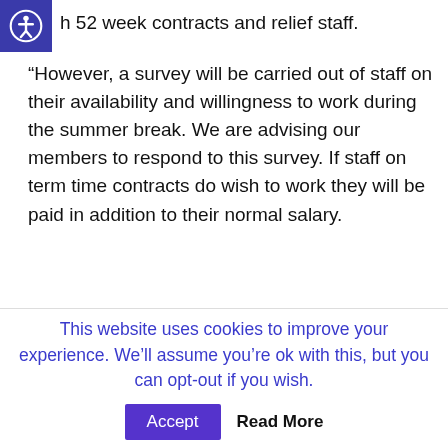h 52 week contracts and relief staff.
“However, a survey will be carried out of staff on their availability and willingness to work during the summer break. We are advising our members to respond to this survey. If staff on term time contracts do wish to work they will be paid in addition to their normal salary.
“With regards to the return to work on the 11th August, a survey of staff will be done to check the availability of staff. Only those available will be
This website uses cookies to improve your experience. We’ll assume you’re ok with this, but you can opt-out if you wish.
Accept
Read More